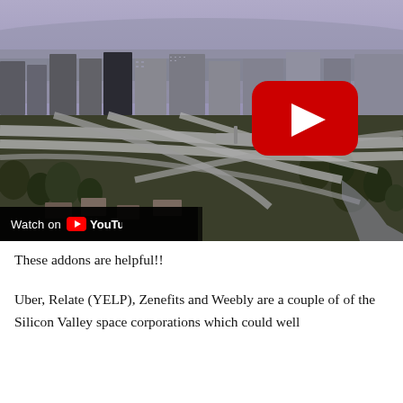[Figure (screenshot): A YouTube video thumbnail showing an aerial view of Silicon Valley / San Jose city skyline with freeways and interchanges. A large red YouTube play button is visible in the upper-right area of the image. A 'Watch on YouTube' bar appears in the lower-left corner of the image.]
These addons are helpful!!
Uber, Relate (YELP), Zenefits and Weebly are a couple of of the Silicon Valley space corporations which could well